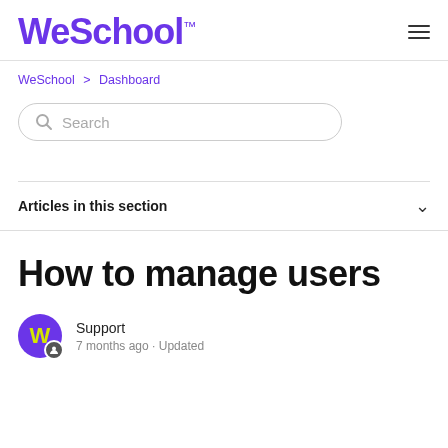WeSchool™
WeSchool > Dashboard
Search
Articles in this section
How to manage users
Support
7 months ago · Updated